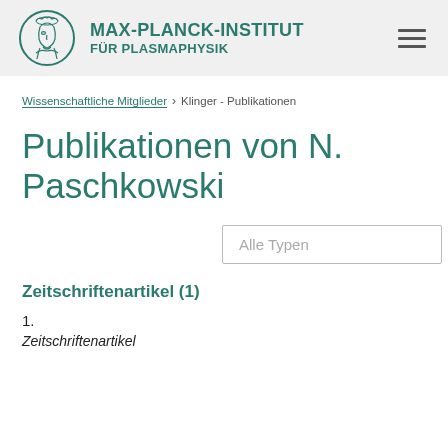MAX-PLANCK-INSTITUT FÜR PLASMAPHYSIK
Wissenschaftliche Mitglieder › Klinger - Publikationen
Publikationen von N. Paschkowski
Alle Typen
Zeitschriftenartikel (1)
1.
Zeitschriftenartikel